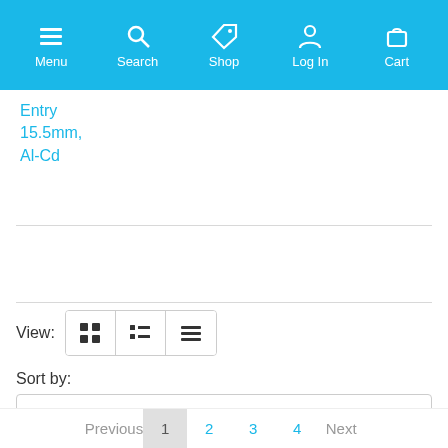Menu | Search | Shop | Log In | Cart
Entry 15.5mm, Al-Cd
View: [grid] [list compact] [list]
Sort by: Product Name
Items per page: 24
Previous 1 2 3 4 Next